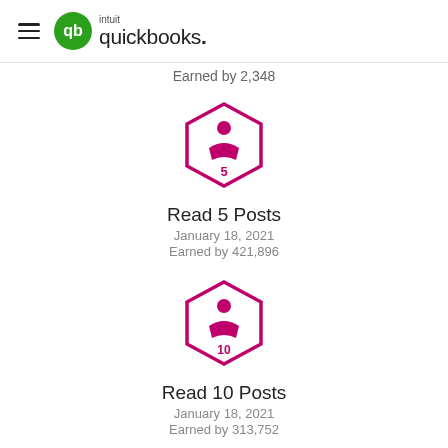QuickBooks (Intuit QuickBooks logo)
Earned by 2,348
[Figure (illustration): Hexagonal badge with pink/magenta border containing a reading person icon and the number 5]
Read 5 Posts
January 18, 2021
Earned by 421,896
[Figure (illustration): Hexagonal badge with pink/magenta border containing a reading person icon and the number 10]
Read 10 Posts
January 18, 2021
Earned by 313,752